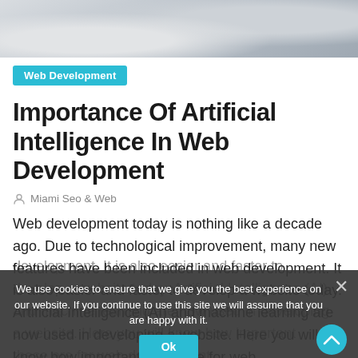[Figure (photo): Top banner photo showing phones/devices and web development sketches on a desk, cropped to a horizontal strip]
Web Development
Importance Of Artificial Intelligence In Web Development
Miami Seo & Web
Web development today is nothing like a decade ago. Due to technological improvement, many new features have been included in web development. It is also easier and faster to develop a website today. Artificial Intelligence (AI) and machine learning are now used in developing a website. Here you will know how important these are for web development.
We use cookies to ensure that we give you the best experience on our website. If you continue to use this site we will assume that you are happy with it.
Ok